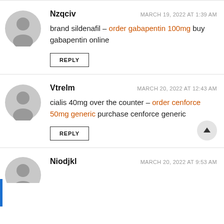Nzqciv — MARCH 19, 2022 AT 1:39 AM — brand sildenafil – order gabapentin 100mg buy gabapentin online — REPLY
Vtrelm — MARCH 20, 2022 AT 12:43 AM — cialis 40mg over the counter – order cenforce 50mg generic purchase cenforce generic — REPLY
Niodjkl — MARCH 20, 2022 AT 9:53 AM